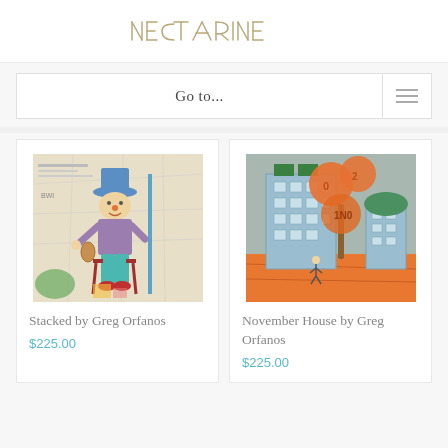NECTARINE
Go to...
[Figure (illustration): Mixed media artwork titled 'Stacked' showing a clown-like figure seated on a red chair with maps and newspaper collage background]
Stacked by Greg Orfanos
$225.00
[Figure (illustration): Artwork titled 'November House' showing colorful buildings on an orange hill with orange balloon-like trees]
November House by Greg Orfanos
$225.00